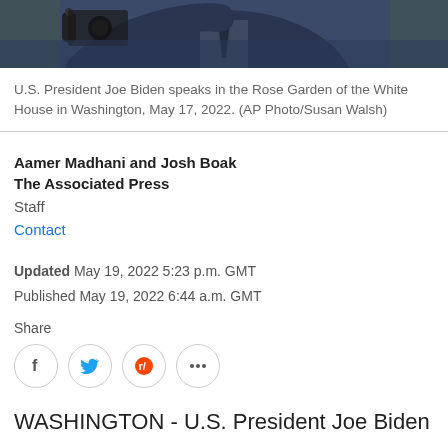[Figure (photo): Top portion of a photo showing U.S. President Joe Biden speaking, wearing a dark suit, with a microphone visible. Cropped to show only the upper body/arm area.]
U.S. President Joe Biden speaks in the Rose Garden of the White House in Washington, May 17, 2022. (AP Photo/Susan Walsh)
Aamer Madhani and Josh Boak
The Associated Press
Staff
Contact
Updated May 19, 2022 5:23 p.m. GMT
Published May 19, 2022 6:44 a.m. GMT
Share
WASHINGTON - U.S. President Joe Biden